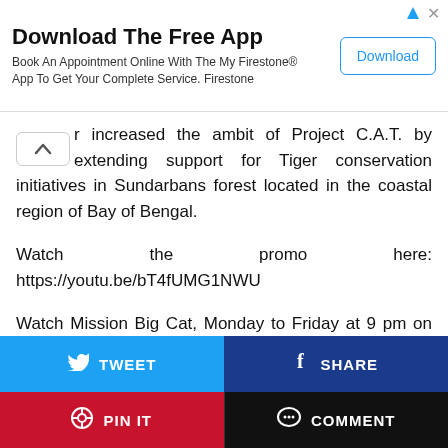[Figure (other): Advertisement banner for Firestone app download with title 'Download The Free App', subtitle 'Book An Appointment Online With The My Firestone® App To Get Your Complete Service. Firestone', and a Download button]
r increased the ambit of Project C.A.T. by extending support for Tiger conservation initiatives in Sundarbans forest located in the coastal region of Bay of Bengal.
Watch the promo here: https://youtu.be/bT4fUMG1NWU
Watch Mission Big Cat, Monday to Friday at 9 pm on Animal Planet
Tags  # Entertainment
[Figure (other): Social sharing buttons: TWEET (blue), SHARE (dark blue), PIN IT (red), COMMENT (black)]